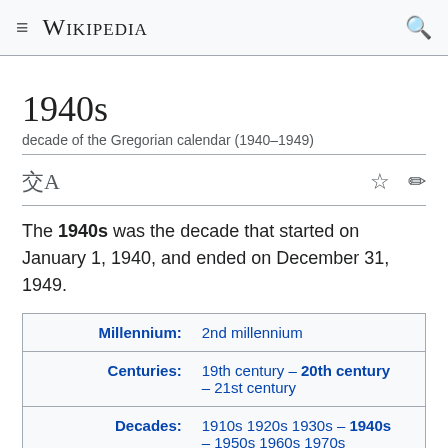Wikipedia
1940s
decade of the Gregorian calendar (1940–1949)
The 1940s was the decade that started on January 1, 1940, and ended on December 31, 1949.
|  |  |
| --- | --- |
| Millennium: | 2nd millennium |
| Centuries: | 19th century – 20th century – 21st century |
| Decades: | 1910s 1920s 1930s – 1940s – 1950s 1960s 1970s |
| Years: | 1940 1941 1942 1943 1944 |